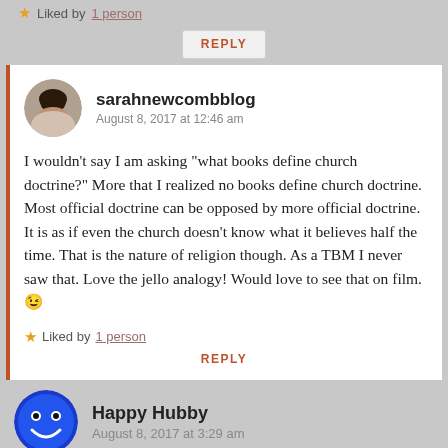★ Liked by 1 person
REPLY
sarahnewcombblog
August 8, 2017 at 12:46 am
I wouldn't say I am asking "what books define church doctrine?" More that I realized no books define church doctrine. Most official doctrine can be opposed by more official doctrine. It is as if even the church doesn't know what it believes half the time. That is the nature of religion though. As a TBM I never saw that. Love the jello analogy! Would love to see that on film. 😉
★ Liked by 1 person
REPLY
Happy Hubby
August 8, 2017 at 3:29 am